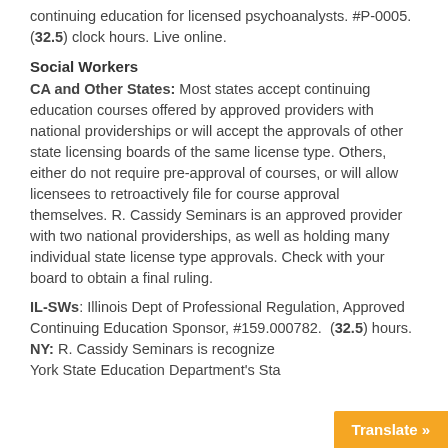continuing education for licensed psychoanalysts. #P-0005. (32.5) clock hours. Live online.
Social Workers
CA and Other States: Most states accept continuing education courses offered by approved providers with national providerships or will accept the approvals of other state licensing boards of the same license type. Others, either do not require pre-approval of courses, or will allow licensees to retroactively file for course approval themselves. R. Cassidy Seminars is an approved provider with two national providerships, as well as holding many individual state license type approvals. Check with your board to obtain a final ruling.
IL-SWs: Illinois Dept of Professional Regulation, Approved Continuing Education Sponsor, #159.000782. (32.5) hours.
NY: R. Cassidy Seminars is recognized York State Education Department's Sta